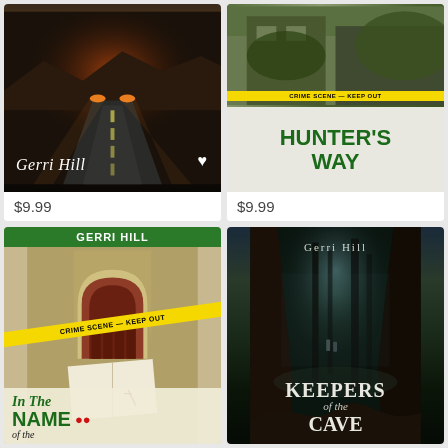[Figure (photo): Book cover: Gerri Hill - dark road at night with headlights, author name in script with white heart, price $9.99]
[Figure (photo): Book cover: Hunter's Way by Gerri Hill - crime scene tape over house exterior, green bold title text on light background, price $9.99]
[Figure (photo): Book cover: In The Name of the - Gerri Hill banner, church arch with crime scene tape, open bible, bold green title text]
[Figure (photo): Book cover: Keepers of the Cave by Gerri Hill - dark forest with two silhouetted figures, large serif title text in white]